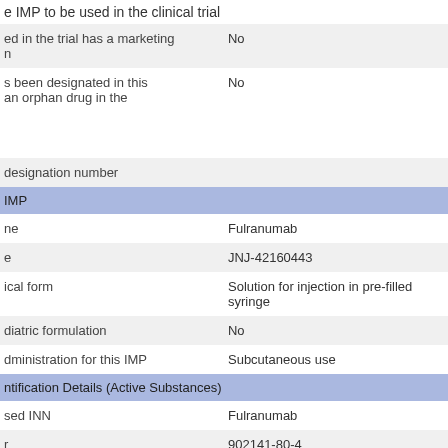| Field | Value |
| --- | --- |
| e IMP to be used in the clinical trial |  |
| ed in the trial has a marketing
n | No |
| s been designated in this
an orphan drug in the | No |
| designation number |  |
| IMP |  |
| ne | Fulranumab |
| e | JNJ-42160443 |
| ical form | Solution for injection in pre-filled syringe |
| diatric formulation | No |
| dministration for this IMP | Subcutaneous use |
| ntification Details (Active Substances) |  |
| sed INN | Fulranumab |
| r | 902141-80-4 |
| nsor code | JNJ-42160443 |
| ptive name | FULRANUMAB |
| n Code | CUB21033 |